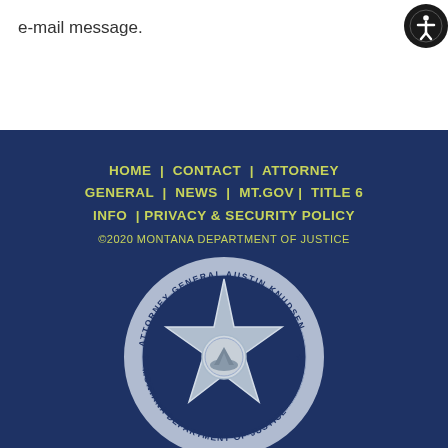e-mail message.
HOME | CONTACT | ATTORNEY GENERAL | NEWS | MT.GOV | TITLE 6 INFO | PRIVACY & SECURITY POLICY
©2020 MONTANA DEPARTMENT OF JUSTICE
[Figure (logo): Montana Department of Justice seal with Attorney General Austin Knudsen, featuring a silver star badge with state seal in center, text around circular border reading ATTORNEY GENERAL AUSTIN KNUDSEN and MONTANA DEPARTMENT OF JUSTICE with stars]